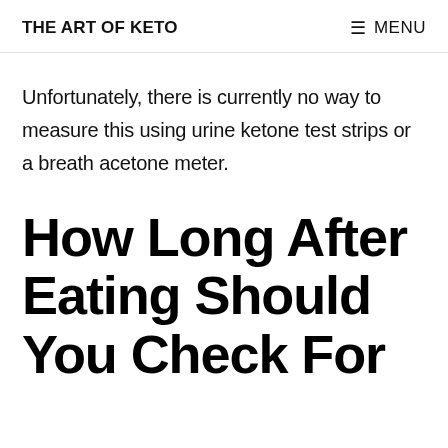THE ART OF KETO
Unfortunately, there is currently no way to measure this using urine ketone test strips or a breath acetone meter.
How Long After Eating Should You Check For